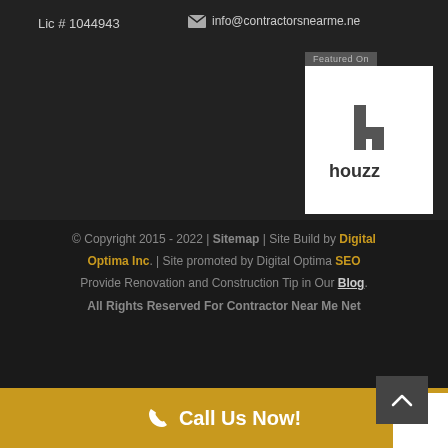Lic # 1044943
info@contractorsnearme.net
[Figure (logo): Houzz logo badge — white square with 'h' icon and 'houzz' text in dark gray, with 'Featured On' label above]
© Copyright 2015 - 2022 | Sitemap | Site Build by Digital Optima Inc. | Site promoted by Digital Optima SEO Provide Renovation and Construction Tip in Our Blog. All Rights Reserved For Contractor Near Me Net
Call Us Now!